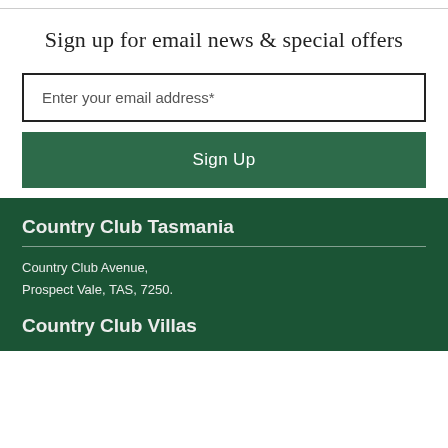Sign up for email news & special offers
Enter your email address*
Sign Up
Country Club Tasmania
Country Club Avenue,
Prospect Vale, TAS, 7250.
Country Club Villas